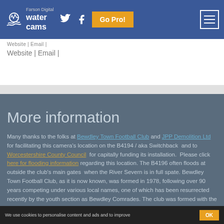Farson Digital water cams
Website | Email |
More information
Many thanks to the folks at Bewdley Town Football Club and JPP Demolition Ltd for facilitating this camera's location on the B4194 / aka Switchback  and to Worcestershire County Council  for capitally funding its installation.  Please click here for flooding information regarding this location. The B4196 often floods at outside the club's main gates  when the River Severn is in full spate. Bewdley Town Football Club, as it is now known, was formed in 1978, following over 90 years competing under various local names, one of which has been resurrected recently by the youth section as Bewdley Comrades. The club was formed with the merger of two local teams  Bewdley Old Boys
We use cookies to personalise content and ads and to improve